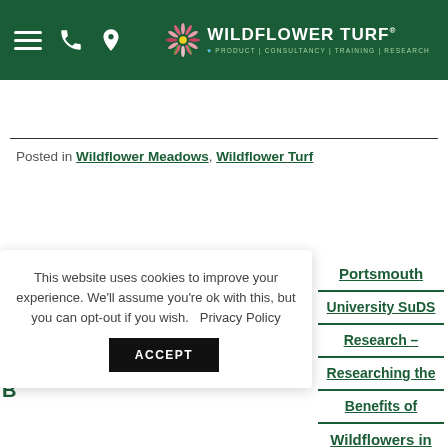Wildflower Turf — PRODUCT | CONSULTANCY | TRAINING | RESEARCH
Posted in Wildflower Meadows, Wildflower Turf
This website uses cookies to improve your experience. We'll assume you're ok with this, but you can opt-out if you wish. Privacy Policy ACCEPT
Portsmouth University SuDS Research – Researching the Benefits of Wildflowers in